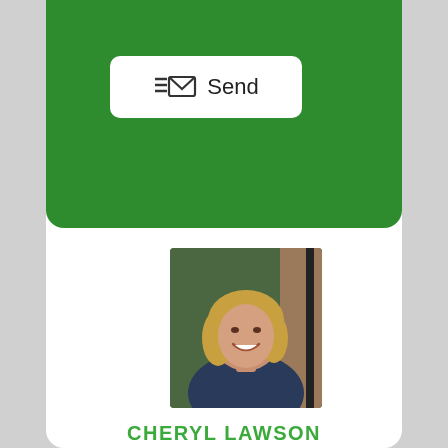[Figure (other): Green send button area at top of card with envelope/lines icon and 'Send' text on white rounded button]
[Figure (photo): Professional headshot of Cheryl Lawson, a woman with blonde bob haircut, smiling, wearing dark top, outdoors]
CHERYL LAWSON
Broker
(520) 836-9494